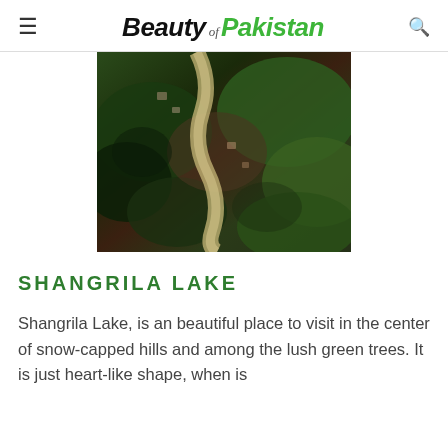Beauty of Pakistan
[Figure (photo): Aerial photograph showing a river winding through dense green forested hills and terrain, likely in Pakistan.]
Shangrila Lake
Shangrila Lake, is an beautiful place to visit in the center of snow-capped hills and among the lush green trees. It is just heart-like shape, when is